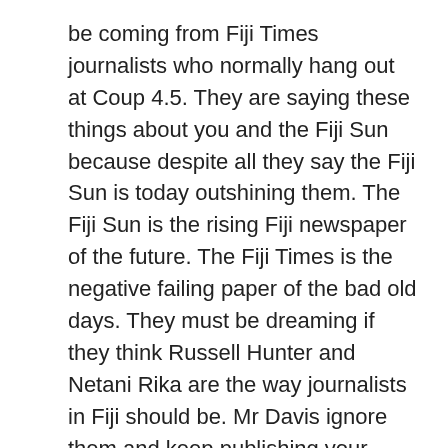be coming from Fiji Times journalists who normally hang out at Coup 4.5. They are saying these things about you and the Fiji Sun because despite all they say the Fiji Sun is today outshining them. The Fiji Sun is the rising Fiji newspaper of the future. The Fiji Times is the negative failing paper of the bad old days. They must be dreaming if they think Russell Hunter and Netani Rika are the way journalists in Fiji should be. Mr Davis ignore them and keep publishing your column in the Fiji Sun. A lot of our people read it there and agree with your views.
Reply